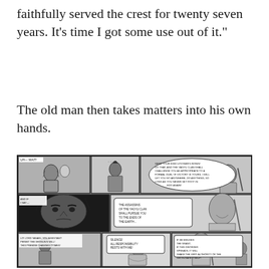faithfully served the crest for twenty seven years. It’s time I got some use out of it.”
The old man then takes matters into his own hands.
[Figure (illustration): Manga comic page with three rows of panels showing samurai characters in conversation. Top row: three panels with an old man gesturing and a samurai, with a large speech bubble. Middle row: two panels showing a stern man's face and speech text. Bottom row: three panels showing multiple samurai characters with dialogue.]